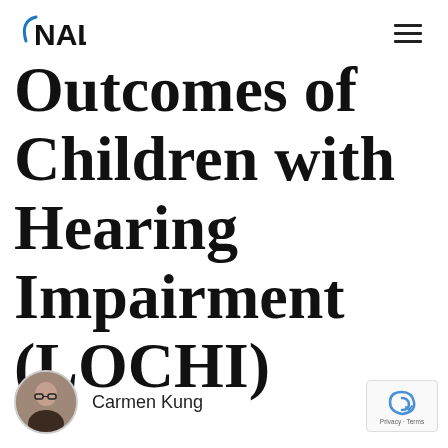NAL
Outcomes of Children with Hearing Impairment (LOCHI)
Carmen Kung